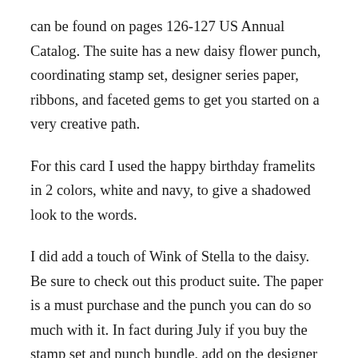can be found on pages 126-127 US Annual Catalog. The suite has a new daisy flower punch, coordinating stamp set, designer series paper, ribbons, and faceted gems to get you started on a very creative path.
For this card I used the happy birthday framelits in 2 colors, white and navy, to give a shadowed look to the words.
I did add a touch of Wink of Stella to the daisy. Be sure to check out this product suite. The paper is a must purchase and the punch you can do so much with it. In fact during July if you buy the stamp set and punch bundle, add on the designer series paper and a roll of coordinating ribbon you will get a $5.00 coupon to spend in August. Your coupon will be emailed to you. Buy now and save, and save more in